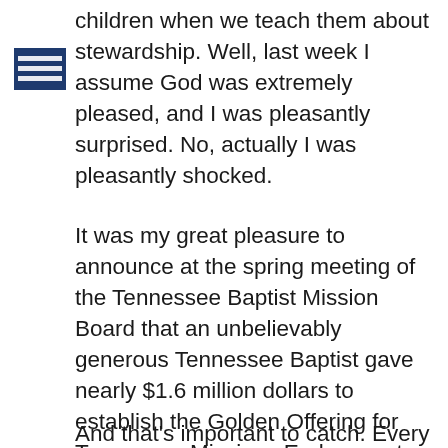children when we teach them about stewardship. Well, last week I assume God was extremely pleased, and I was pleasantly surprised. No, actually I was pleasantly shocked.
It was my great pleasure to announce at the spring meeting of the Tennessee Baptist Mission Board that an unbelievably generous Tennessee Baptist gave nearly $1.6 million dollars to establish the Golden Offering for Tennessee Missions Endowment. For years to come, approximately $50,000-plus in annual interest will funnel into the GOTM and be used for a variety of ministry opportunities.
And that's important to catch. Every penny